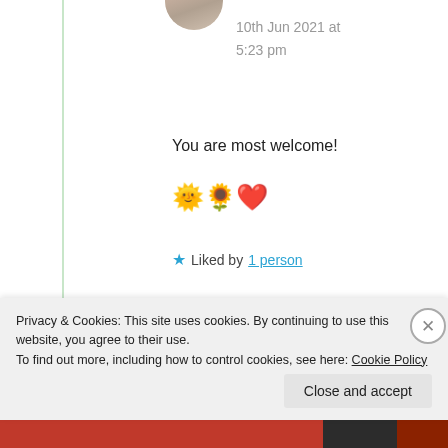[Figure (photo): Partial avatar photo of a person, cropped circular, at top of page]
10th Jun 2021 at 5:23 pm
You are most welcome!
🌞🌻❤️
★ Liked by 1 person
[Figure (photo): Circular avatar photo of Suma Reddy]
Suma Reddy
10th Jun 2021 at
Privacy & Cookies: This site uses cookies. By continuing to use this website, you agree to their use.
To find out more, including how to control cookies, see here: Cookie Policy
Close and accept